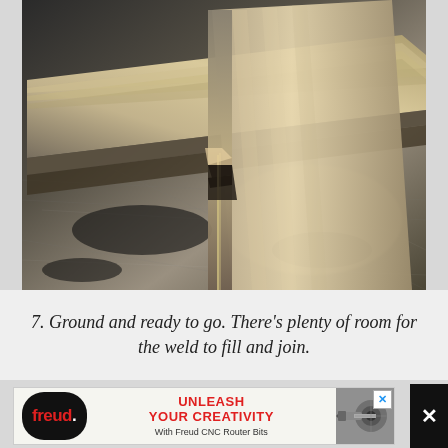[Figure (photo): Close-up photograph of two metal pieces joined at a corner on a scratched metal workbench surface, showing a V-groove weld preparation between two flat metal bars, ready for welding]
7. Ground and ready to go. There's plenty of room for the weld to fill and join.
[Figure (other): Advertisement for Freud CNC Router Bits with logo, text 'UNLEASH YOUR CREATIVITY With Freud CNC Router Bits' and image of drill/router bit]